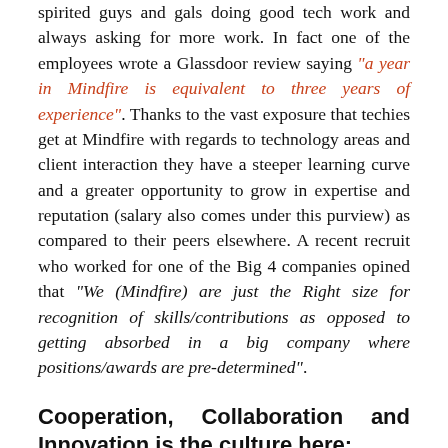spirited guys and gals doing good tech work and always asking for more work. In fact one of the employees wrote a Glassdoor review saying "a year in Mindfire is equivalent to three years of experience". Thanks to the vast exposure that techies get at Mindfire with regards to technology areas and client interaction they have a steeper learning curve and a greater opportunity to grow in expertise and reputation (salary also comes under this purview) as compared to their peers elsewhere. A recent recruit who worked for one of the Big 4 companies opined that "We (Mindfire) are just the Right size for recognition of skills/contributions as opposed to getting absorbed in a big company where positions/awards are pre-determined".
Cooperation, Collaboration and Innovation is the culture here:
There is a culture of collaboration at Mindfire. Most